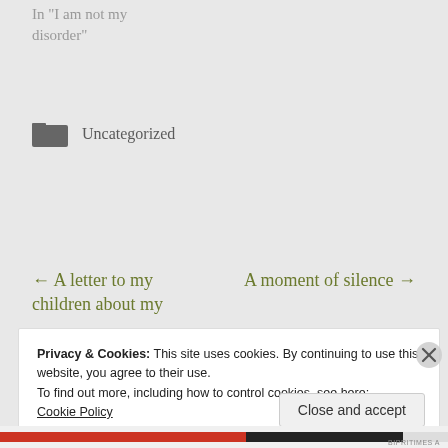In "I am not my disorder"
Uncategorized
← A letter to my children about my
A moment of silence →
Privacy & Cookies: This site uses cookies. By continuing to use this website, you agree to their use.
To find out more, including how to control cookies, see here:
Cookie Policy
Close and accept